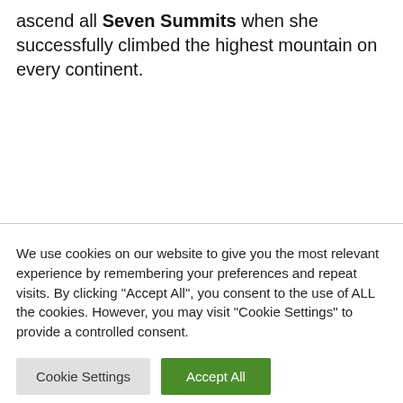ascend all Seven Summits when she successfully climbed the highest mountain on every continent.
We use cookies on our website to give you the most relevant experience by remembering your preferences and repeat visits. By clicking "Accept All", you consent to the use of ALL the cookies. However, you may visit "Cookie Settings" to provide a controlled consent.